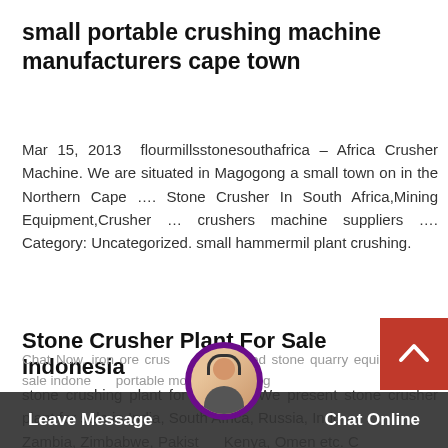small portable crushing machine manufacturers cape town
Mar 15, 2013  flourmillsstonesouthafrica – Africa Crusher Machine. We are situated in Magogong a small town on in the Northern Cape …. Stone Crusher In South Africa,Mining Equipment,Crusher … crushers machine suppliers …. Category: Uncategorized. small hammermil plant crushing.
Stone Crusher Plant For Sale Indonesia
stone crushing plant for sale. …. We present stone crusher plant for sale in India, South Africa, Russia, Indonesia, Zambia, Zimbabwe, Pakistan, Kenya, Omen etc. Chat Now. iron ore crusher indonesia. used stone quarry equipment for sale indonesia. portable mobile screening